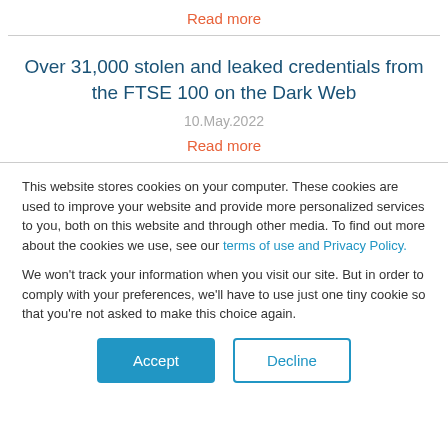Read more
Over 31,000 stolen and leaked credentials from the FTSE 100 on the Dark Web
10.May.2022
Read more
This website stores cookies on your computer. These cookies are used to improve your website and provide more personalized services to you, both on this website and through other media. To find out more about the cookies we use, see our terms of use and Privacy Policy.
We won't track your information when you visit our site. But in order to comply with your preferences, we'll have to use just one tiny cookie so that you're not asked to make this choice again.